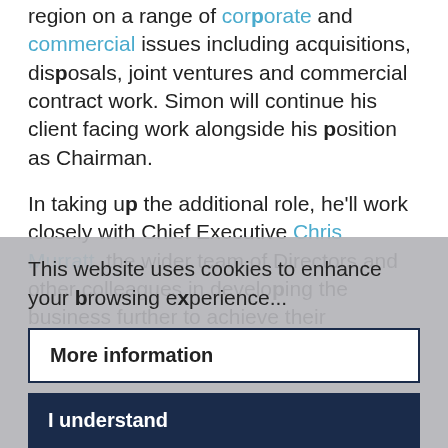region on a range of corporate and commercial issues including acquisitions, disposals, joint ventures and commercial contract work. Simon will continue his client facing work alongside his position as Chairman.
In taking up the additional role, he'll work closely with Chief Executive Chris Murratt, the wider team of Directors and other colleagues in developing the business further to achieve their continuing strategy
This website uses cookies to enhance your browsing experience...
More information
I understand